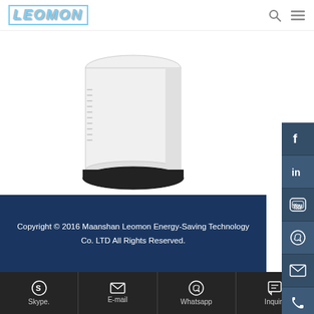LEOMON
[Figure (photo): White cylindrical air-to-water heat pump unit on a black base, product photo on white background]
Air to Water Heat Pump Working Principle
Copyright © 2016 Maanshan Leomon Energy-Saving Technology Co. LTD All Rights Reserved.